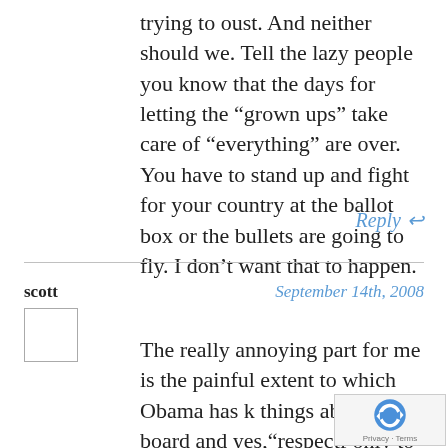trying to oust. And neither should we. Tell the lazy people you know that the days for letting the “grown ups” take care of „verything” are over. You have to stand up and fight for your country at the ballot box or the bullets are going to fly. I don’t want that to happen.
Reply ↩
scott September 14th, 2008
The really annoying part for me is the painful extent to which Obama has k things above board and yes,“respectf only to be hit with such a blatantly